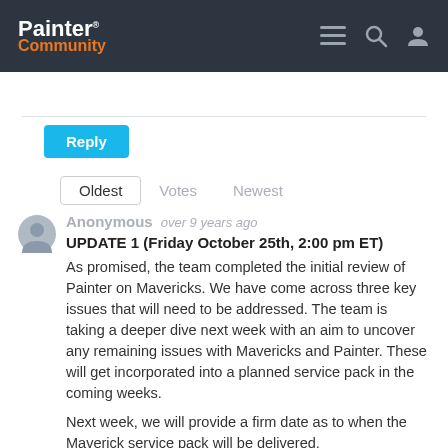Painter Community
Reply
Oldest  Votes  Newest
Anonymous  over 9 years ago
UPDATE 1 (Friday October 25th, 2:00 pm ET)

As promised, the team completed the initial review of Painter on Mavericks. We have come across three key issues that will need to be addressed. The team is taking a deeper dive next week with an aim to uncover any remaining issues with Mavericks and Painter. These will get incorporated into a planned service pack in the coming weeks.

Next week, we will provide a firm date as to when the Maverick service pack will be delivered.

Thank you in advance for your patience!